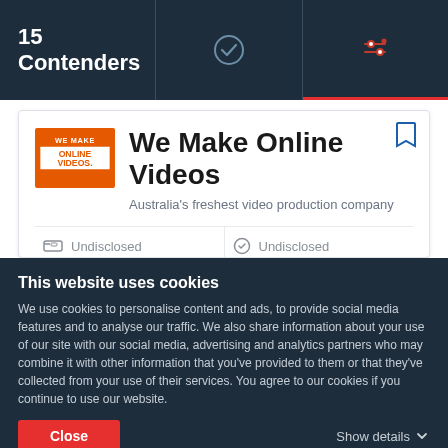15 Contenders
[Figure (screenshot): We Make Online Videos company card showing logo, company name, tagline 'Australia's freshest video production company', with details: Undisclosed pricing, Undisclosed rating, 10-49 employees, South Melbourne Australia location]
This website uses cookies
We use cookies to personalise content and ads, to provide social media features and to analyse our traffic. We also share information about your use of our site with our social media, advertising and analytics partners who may combine it with other information that you've provided to them or that they've collected from your use of their services. You agree to our cookies if you continue to use our website.
Close
Show details